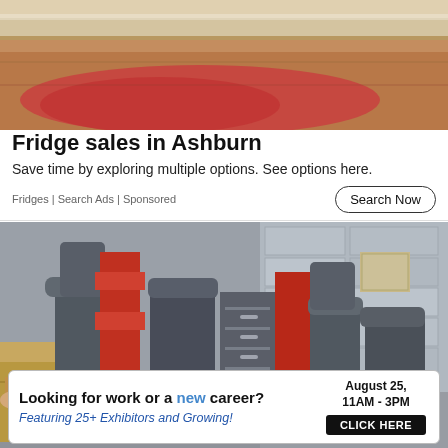[Figure (photo): Top portion of a refrigerator interior or kitchen counter with shelving, reddish-orange tones]
Fridge sales in Ashburn
Save time by exploring multiple options. See options here.
Fridges | Search Ads | Sponsored
[Figure (photo): Warehouse or storage area with discarded office chairs, filing cabinets, and various furniture piled together]
[Figure (infographic): Banner advertisement: Looking for work or a new career? August 25, 11AM-3PM. Featuring 25+ Exhibitors and Growing! CLICK HERE]